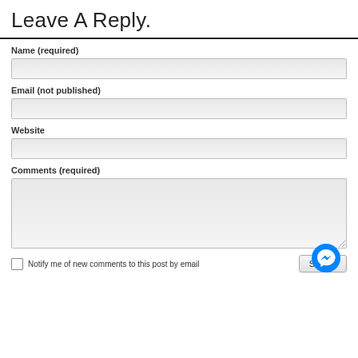Leave A Reply.
Name (required)
Email (not published)
Website
Comments (required)
Notify me of new comments to this post by email